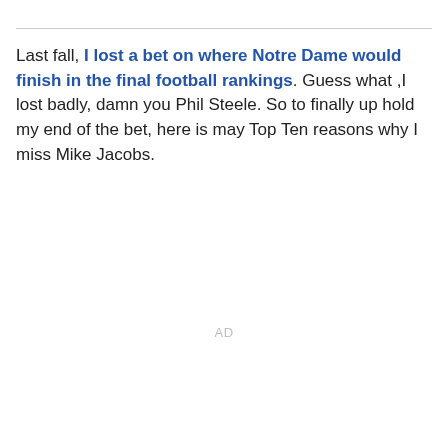Last fall, I lost a bet on where Notre Dame would finish in the final football rankings. Guess what ,I lost badly, damn you Phil Steele. So to finally up hold my end of the bet, here is may Top Ten reasons why I miss Mike Jacobs.
AD